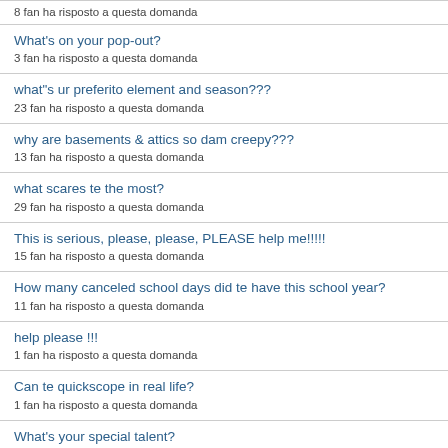8 fan ha risposto a questa domanda
What's on your pop-out?
3 fan ha risposto a questa domanda
what"s ur preferito element and season???
23 fan ha risposto a questa domanda
why are basements & attics so dam creepy???
13 fan ha risposto a questa domanda
what scares te the most?
29 fan ha risposto a questa domanda
This is serious, please, please, PLEASE help me!!!!!
15 fan ha risposto a questa domanda
How many canceled school days did te have this school year?
11 fan ha risposto a questa domanda
help please !!!
1 fan ha risposto a questa domanda
Can te quickscope in real life?
1 fan ha risposto a questa domanda
What's your special talent?
28 fan ha risposto a questa domanda